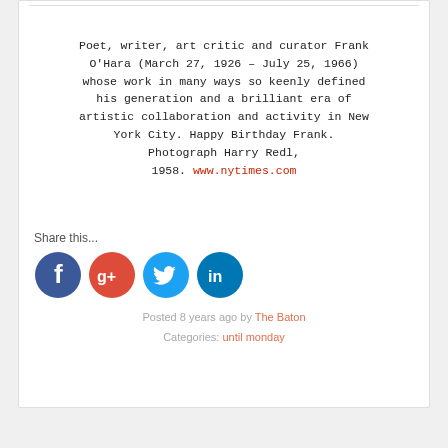Poet, writer, art critic and curator Frank O'Hara (March 27, 1926 – July 25, 1966) whose work in many ways so keenly defined his generation and a brilliant era of artistic collaboration and activity in New York City. Happy Birthday Frank. Photograph Harry Redl, 1958. www.nytimes.com
Share this...
[Figure (infographic): Four social media share icons: Facebook (blue), Google+ (red), Twitter (cyan/blue), LinkedIn (blue)]
Posted 8 years ago by The Baton
Categories: until monday